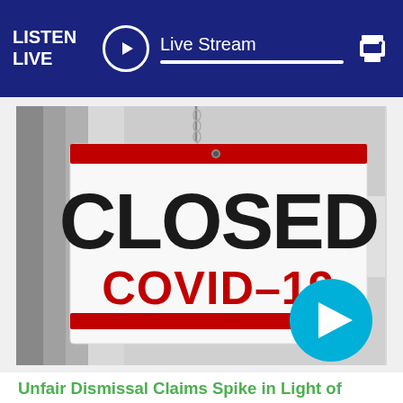LISTEN LIVE | Live Stream
[Figure (photo): A close-up of a sign reading CLOSED COVID-19 with red border, hanging, with a teal play button circle in the lower right corner]
Unfair Dismissal Claims Spike in Light of COVID-19 Layoffs
Employees have been hit hard by the Covid19 Pandemic. The pandemic has led to the unemployment...